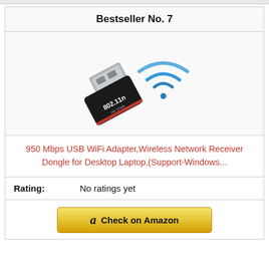Bestseller No. 7
[Figure (photo): USB WiFi adapter dongle (802.11n, HK STAR) with wireless signal arcs in blue]
950 Mbps USB WiFi Adapter,Wireless Network Receiver Dongle for Desktop Laptop,(Support-Windows...
Rating: No ratings yet
Check on Amazon